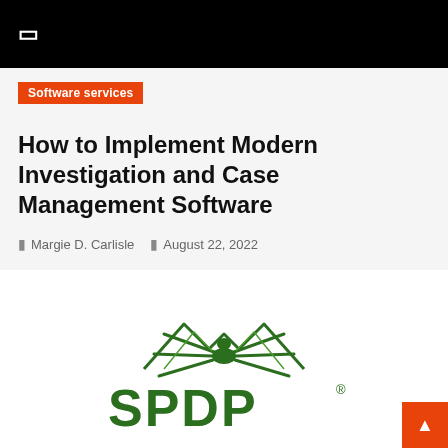Software services
How to Implement Modern Investigation and Case Management Software
Margie D. Carlisle   August 22, 2022
[Figure (logo): SPDP spider logo — a stylized spider/insect figure in dark green above large bold green block letters 'SPDP' with a registered trademark symbol]